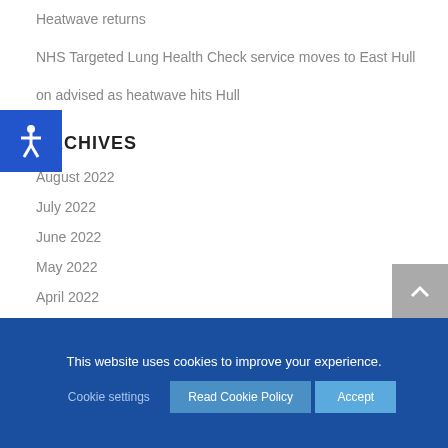Heatwave returns
NHS Targeted Lung Health Check service moves to East Hull
on advised as heatwave hits Hull
ARCHIVES
August 2022
July 2022
June 2022
May 2022
April 2022
March 2022
February 2022
This website uses cookies to improve your experience.
Cookie settings  Read Cookie Policy  Accept